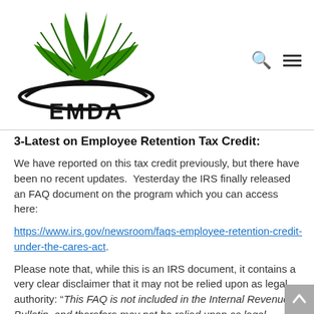[Figure (logo): EMDA logo: green leaf/plant icon above the text EMDA in bold black letters]
3-Latest on Employee Retention Tax Credit:
We have reported on this tax credit previously, but there have been no recent updates.  Yesterday the IRS finally released an FAQ document on the program which you can access here:
https://www.irs.gov/newsroom/faqs-employee-retention-credit-under-the-cares-act.
Please note that, while this is an IRS document, it contains a very clear disclaimer that it may not be relied upon as legal authority: “This FAQ is not included in the Internal Revenue Bulletin, and therefore may not be relied upon as legal authority.  This means that the